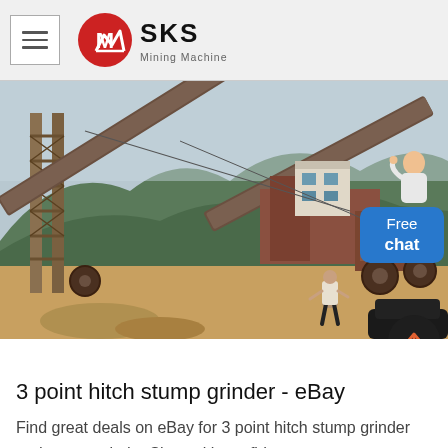SKS Mining Machine
[Figure (photo): Outdoor mining facility with large conveyor belts and heavy industrial machinery. A person stands in the foreground on sandy ground. Mountains and sky visible in the background.]
3 point hitch stump grinder - eBay
Find great deals on eBay for 3 point hitch stump grinder and stump grinder Shop with confidence.